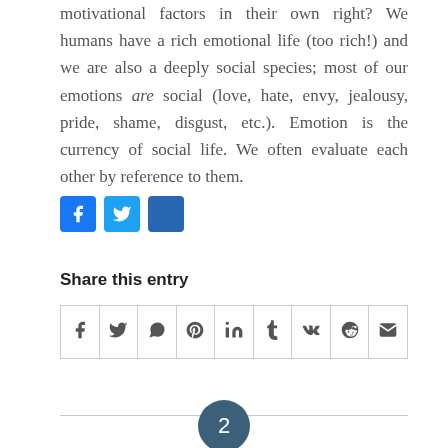motivational factors in their own right? We humans have a rich emotional life (too rich!) and we are also a deeply social species; most of our emotions are social (love, hate, envy, jealousy, pride, shame, disgust, etc.). Emotion is the currency of social life. We often evaluate each other by reference to them.
[Figure (other): Social share buttons: Facebook (blue), Twitter (blue), LinkedIn (dark blue)]
Share this entry
[Figure (other): Share icon row: Facebook, Twitter, WhatsApp, Pinterest, LinkedIn, Tumblr, VK, Reddit, Email]
2